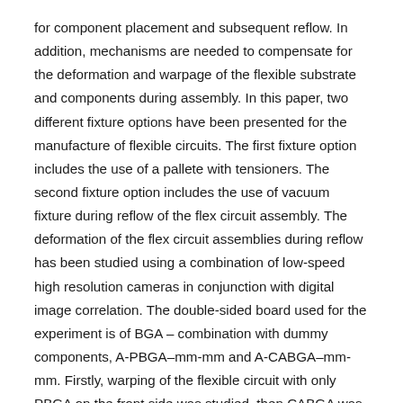for component placement and subsequent reflow. In addition, mechanisms are needed to compensate for the deformation and warpage of the flexible substrate and components during assembly. In this paper, two different fixture options have been presented for the manufacture of flexible circuits. The first fixture option includes the use of a pallete with tensioners. The second fixture option includes the use of vacuum fixture during reflow of the flex circuit assembly. The deformation of the flex circuit assemblies during reflow has been studied using a combination of low-speed high resolution cameras in conjunction with digital image correlation. The double-sided board used for the experiment is of BGA – combination with dummy components, A-PBGA–mm-mm and A-CABGA–mm-mm. Firstly, warping of the flexible circuit with only PBGA on the front side was studied, then CABGA was placed on the back side using the pick and place machine, and warping was studied again, both using DIC. Two low speed Point Grey Cameras were used to capture many frames of flexible circuit going through every stage in reflow and a DIC software Vic 3D was used to get